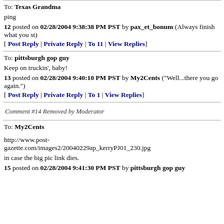To: Texas Grandma
ping
12 posted on 02/28/2004 9:38:38 PM PST by pax_et_bonum (Always finish what you st)
[ Post Reply | Private Reply | To 11 | View Replies]
To: pittsburgh gop guy
Keep on truckin', baby!
13 posted on 02/28/2004 9:40:10 PM PST by My2Cents ("Well...there you go again.")
[ Post Reply | Private Reply | To 1 | View Replies]
Comment #14 Removed by Moderator
To: My2Cents
http://www.post-gazette.com/images2/20040229ap_kerryPJ01_230.jpg
in case the big pic link dies.
15 posted on 02/28/2004 9:41:30 PM PST by pittsburgh gop guy